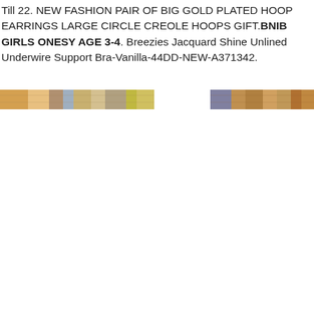Till 22. NEW FASHION PAIR OF BIG GOLD PLATED HOOP EARRINGS LARGE CIRCLE CREOLE HOOPS GIFT.BNIB GIRLS ONESY AGE 3-4. Breezies Jacquard Shine Unlined Underwire Support Bra-Vanilla-44DD-NEW-A371342.
[Figure (photo): A horizontal strip of product images showing various fashion items including earrings, clothing and a bra, partially cropped]